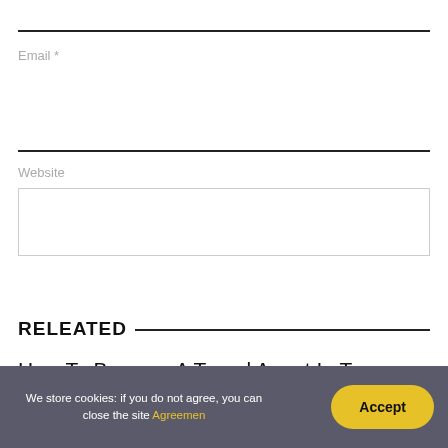Email *
Website
POST COMMENT
RELEATED
How To Become A Travel Agent In Texas
We store cookies: if you do not agree, you can close the site Agreemen